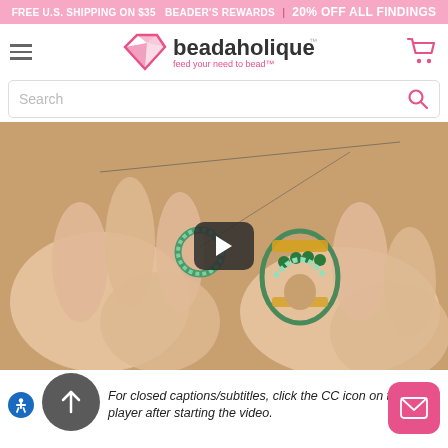FREE U.S. SHIPPING ON $35   BEADER'S REWARDS | 20% OFF ALL FINDINGS
[Figure (logo): Beadaholique logo with gem icon and tagline 'feed your need to bead']
Search
[Figure (screenshot): Video thumbnail showing hands beading a decorative ring with green and gold beads, with a play button overlay]
For closed captions/subtitles, click the CC icon on the player after starting the video.